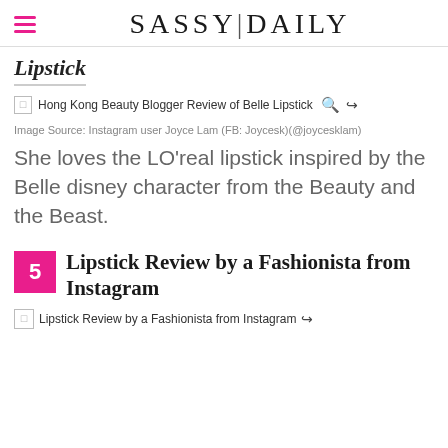SASSY|DAILY
Lipstick
[Figure (photo): Hong Kong Beauty Blogger Review of Belle Lipstick — broken image placeholder with alt text]
Image Source: Instagram user Joyce Lam (FB: Joycesk)(@joycesklam)
She loves the LO'real lipstick inspired by the Belle disney character from the Beauty and the Beast.
5 Lipstick Review by a Fashionista from Instagram
[Figure (photo): Lipstick Review by a Fashionista from Instagram — broken image placeholder with alt text]